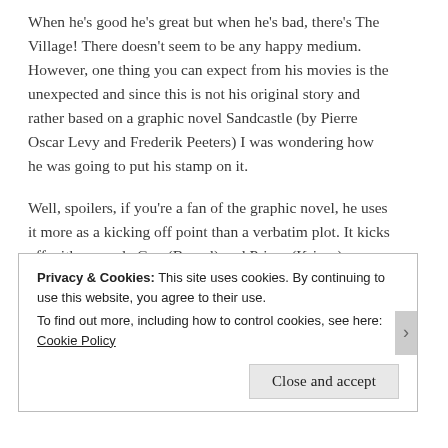When he's good he's great but when he's bad, there's The Village! There doesn't seem to be any happy medium. However, one thing you can expect from his movies is the unexpected and since this is not his original story and rather based on a graphic novel Sandcastle (by Pierre Oscar Levy and Frederik Peeters) I was wondering how he was going to put his stamp on it.
Well, spoilers, if you're a fan of the graphic novel, he uses it more as a kicking off point than a verbatim plot. It kicks off with a couple Guy (Bernal) and Prisca (Krieps) travelling to a tropical resort with their young children. On the verge of divorce this is intended to be a final family vacation. When the resorts manager offers them an exclusive trip to a secluded beach by a nature reserve they think it will be a
Privacy & Cookies: This site uses cookies. By continuing to use this website, you agree to their use.
To find out more, including how to control cookies, see here: Cookie Policy
Close and accept